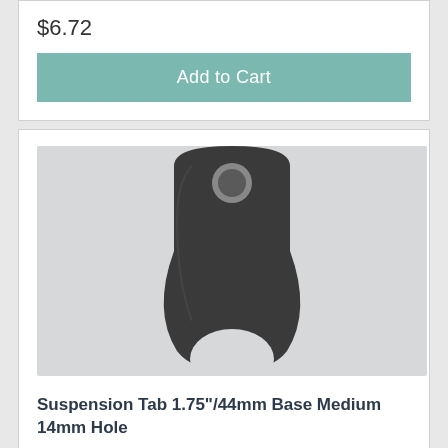$6.72
Add to Cart
[Figure (photo): Black steel suspension tab bracket with rounded top, a 14mm hole near the top, and a curved cutout at the bottom base. The part has a flat profile and is photographed on a light grey background.]
Suspension Tab 1.75"/44mm Base Medium 14mm Hole
$6.72 (partial, cut off)